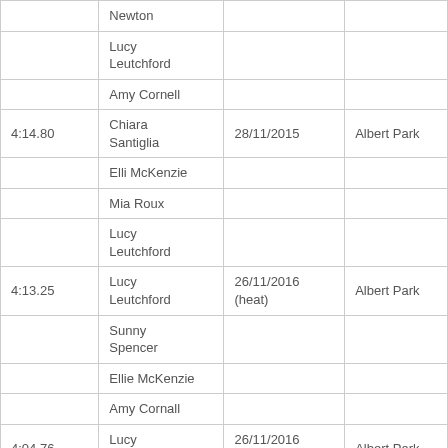| Time | Name | Date | Venue |
| --- | --- | --- | --- |
|  | Newton |  |  |
|  | Lucy Leutchford |  |  |
|  | Amy Cornell |  |  |
| 4:14.80 | Chiara Santiglia | 28/11/2015 | Albert Park |
|  | Elli McKenzie |  |  |
|  | Mia Roux |  |  |
|  | Lucy Leutchford |  |  |
| 4:13.25 | Lucy Leutchford | 26/11/2016 (heat) | Albert Park |
|  | Sunny Spencer |  |  |
|  | Ellie McKenzie |  |  |
|  | Amy Cornall |  |  |
| 4:04.76 | Lucy Leutchford | 26/11/2016 (final) | Albert Park |
|  | Sunny Spencer |  |  |
|  | Ellie McKenzie |  |  |